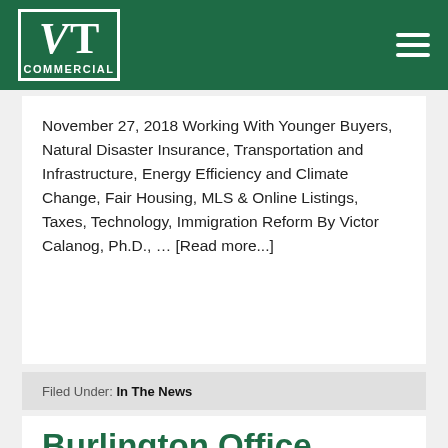[Figure (logo): VT Commercial logo — white bordered box with italic V and T letters and COMMERCIAL text below, on dark green background header with hamburger menu icon]
November 27, 2018 Working With Younger Buyers, Natural Disaster Insurance, Transportation and Infrastructure, Energy Efficiency and Climate Change, Fair Housing, MLS & Online Listings, Taxes, Technology, Immigration Reform By Victor Calanog, Ph.D., ... [Read more...]
Filed Under: In The News
Burlington Office Market Mirrors